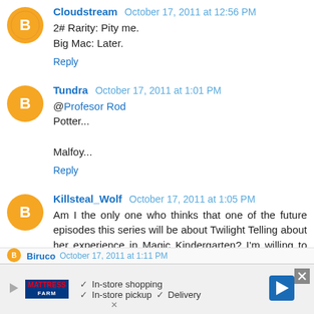Cloudstream October 17, 2011 at 12:56 PM
2# Rarity: Pity me.
Big Mac: Later.
Reply
Tundra October 17, 2011 at 1:01 PM
@Profesor Rod
Potter...

Malfoy...
Reply
Killsteal_Wolf October 17, 2011 at 1:05 PM
Am I the only one who thinks that one of the future episodes this series will be about Twilight Telling about her experience in Magic Kindergarten? I'm willing to place 10 bits on it hapening.
Reply
[Figure (screenshot): Advertisement banner for Mattress Firm showing in-store shopping, in-store pickup, and delivery options with a navigation arrow icon and close button.]
Biruco October 17, 2011 at 1:11 PM